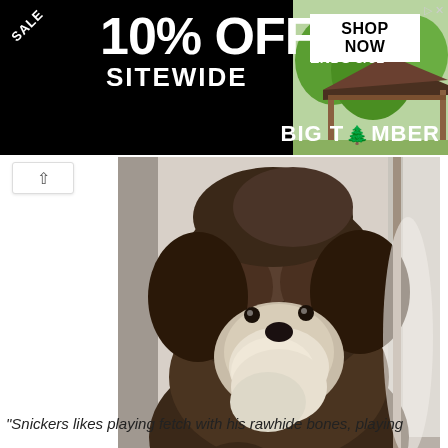[Figure (other): Advertisement banner: black background with '10% OFF SITEWIDE' text, 'SALE' diagonal text, 'SHOP NOW / ENDS 8/31' box, gazebo image on right, 'BIG TIMBER' branding]
[Figure (photo): Close-up photo of a fluffy dark brown and white Shih Tzu or similar small dog sitting and facing the camera, with white muzzle fur visible]
"Snickers likes playing fetch with his rawhide bones, playing